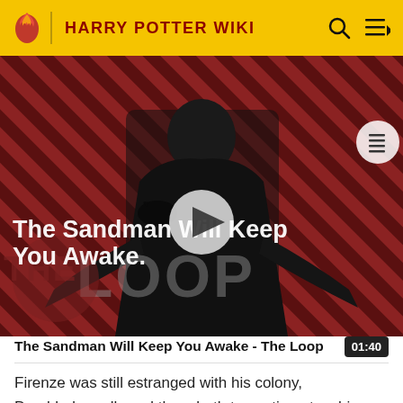HARRY POTTER WIKI
[Figure (screenshot): Video thumbnail showing a dark-cloaked figure against a red and black diagonal striped background. 'THE LOOP' text watermark visible in lower left. Play button overlay in center. Title text 'The Sandman Will Keep You Awake.' in white at top left.]
The Sandman Will Keep You Awake - The Loop
Firenze was still estranged with his colony, Dumbledore allowed them both to continue teaching, though Trelawney was uncomfortable with sharing her classes